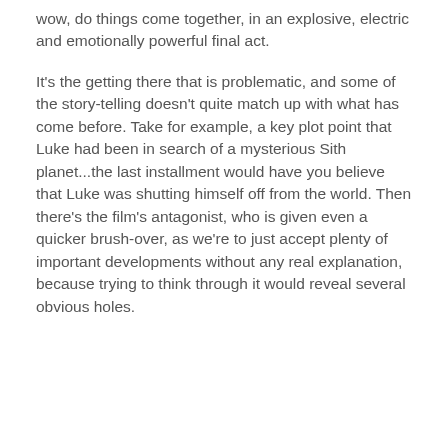wow, do things come together, in an explosive, electric and emotionally powerful final act.
It's the getting there that is problematic, and some of the story-telling doesn't quite match up with what has come before. Take for example, a key plot point that Luke had been in search of a mysterious Sith planet...the last installment would have you believe that Luke was shutting himself off from the world. Then there's the film's antagonist, who is given even a quicker brush-over, as we're to just accept plenty of important developments without any real explanation, because trying to think through it would reveal several obvious holes.